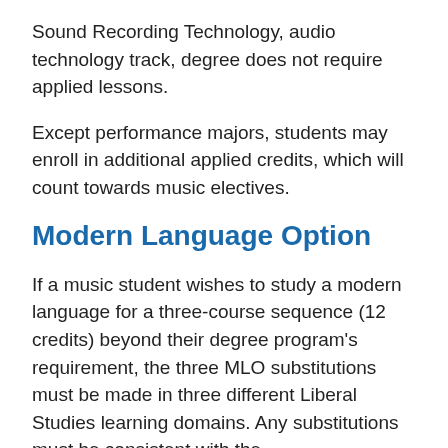Sound Recording Technology, audio technology track, degree does not require applied lessons.
Except performance majors, students may enroll in additional applied credits, which will count towards music electives.
Modern Language Option
If a music student wishes to study a modern language for a three-course sequence (12 credits) beyond their degree program's requirement, the three MLO substitutions must be made in three different Liberal Studies learning domains. Any substitutions must be consistent with the